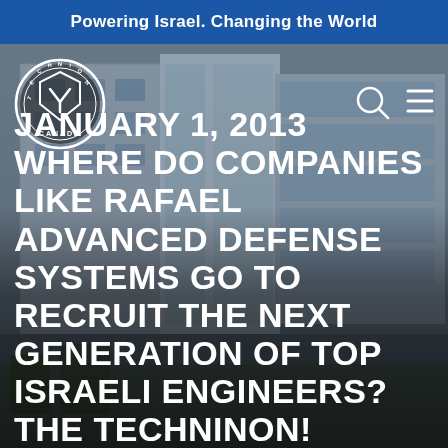Powering Israel. Changing the World
[Figure (photo): Exterior photo of a large modern multi-story building with glass windows and concrete facade, blue-tinted. Technion Canada logo (circular badge with gear and shield) overlaid top-left. Search and hamburger menu icons top-right.]
JANUARY 1, 2013 WHERE DO COMPANIES LIKE RAFAEL ADVANCED DEFENSE SYSTEMS GO TO RECRUIT THE NEXT GENERATION OF TOP ISRAELI ENGINEERS? THE TECHNINON!